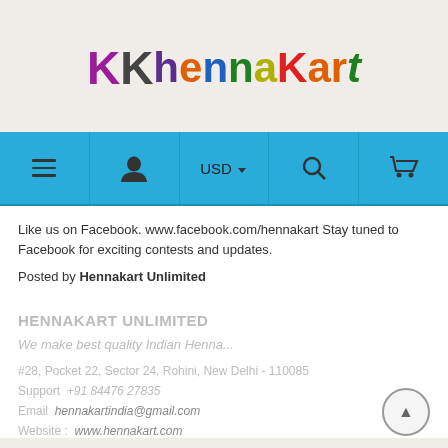[Figure (logo): KhennKart logo with colorful stylized lettering]
[Figure (screenshot): Navigation bar with menu, user, USD currency, search, and cart icons on blue background]
Like us on Facebook. www.facebook.com/hennakart Stay tuned to Facebook for exciting contests and updates.
Posted by Hennakart Unlimited
HENNAKART UNLIMITED
We make best quality Indian Henna...
#28, Pocket 22, Sector 24, Rohini, New Delhi - 110085
Support  +91 84476 27835
Email  hennakartindia@gmail.com
Website :  www.hennakart.com